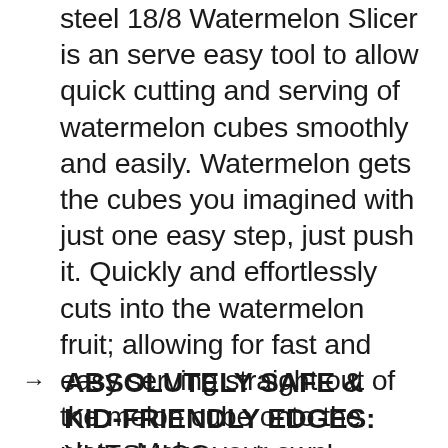steel 18/8 Watermelon Slicer is an serve easy tool to allow quick cutting and serving of watermelon cubes smoothly and easily. Watermelon gets the cubes you imagined with just one easy step, just push it. Quickly and effortlessly cuts into the watermelon fruit; allowing for fast and easy serving straight out of the melon cube onto the plate. Make your own watermelon salad in one minute, enjoy refreshing watermelon cubes hassle free without dealing with drippy mess.
ABSOLUTELY SAFE & KID-FRIENDLY EDGES: YUESHICO watermelon slicer features unique rounded edges...